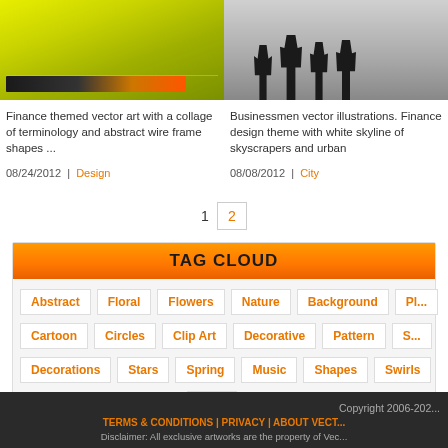[Figure (illustration): Finance themed vector art with collage of terminology and abstract wire frame shapes on yellow/green background]
[Figure (illustration): Businessmen silhouette vector illustrations on grey gradient background]
Finance themed vector art with a collage of terminology and abstract wire frame shapes ...
08/24/2012 | Design
Businessmen vector illustrations. Finance design theme with white skyline of skyscrapers and urban
08/08/2012 | City
1  2
TAG CLOUD
Abstract
Floral
Flowers
Nature
Background
Pl...
Cartoon
Circles
Clip Art
Decorative
Pattern
S...
Decorations
Stars
Spring
Music
Shapes
Swirls
Love
Copyright 2006-202... | TERMS & CONDITIONS | PRIVACY | ABOUT VECT... | Disclaimer: All exclusive artworks are the property of Vec...